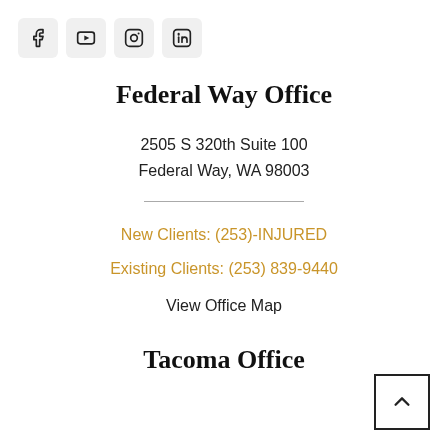[Figure (infographic): Social media icons: Facebook, YouTube, Instagram, LinkedIn]
Federal Way Office
2505 S 320th Suite 100
Federal Way, WA 98003
New Clients: (253)-INJURED
Existing Clients: (253) 839-9440
View Office Map
Tacoma Office